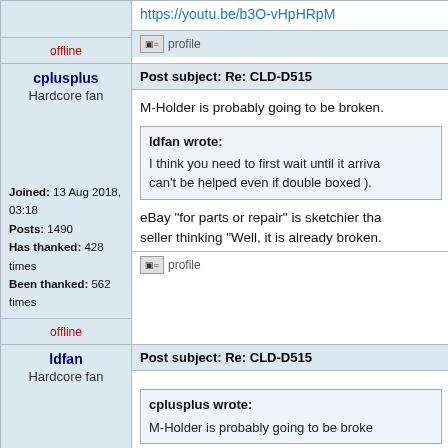https://youtu.be/b3O-vHpHRpM
offline
profile
cplusplus
Post subject: Re: CLD-D515
Hardcore fan
M-Holder is probably going to be broken.
ldfan wrote: I think you need to first wait until it arrives... can't be helped even if double boxed ).
eBay "for parts or repair" is sketchier than seller thinking "Well, it is already broken.
Joined: 13 Aug 2018, 03:18
Posts: 1490
Has thanked: 428 times
Been thanked: 562 times
offline
profile
ldfan
Post subject: Re: CLD-D515
Hardcore fan
cplusplus wrote: M-Holder is probably going to be broke